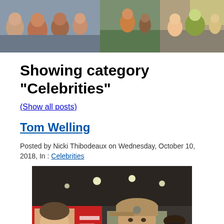[Figure (photo): Header banner with three group photos of people at events]
Showing category "Celebrities"
(Show all posts)
Tom Welling
Posted by Nicki Thibodeaux on Wednesday, October 10, 2018, In : Celebrities
[Figure (photo): Photo of Tom Welling with a child at what appears to be a fan convention, with a red backdrop and Tom's photo banner visible]